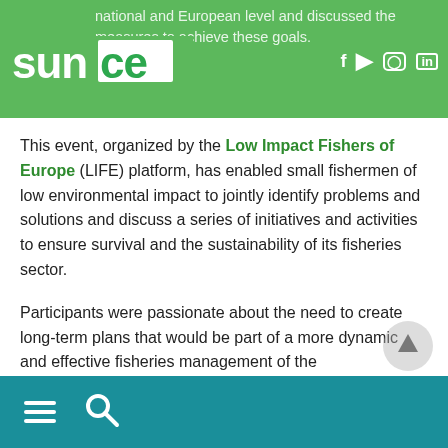national and European level and discussed the measures to achieve these goals.
This event, organized by the Low Impact Fishers of Europe (LIFE) platform, has enabled small fishermen of low environmental impact to jointly identify problems and solutions and discuss a series of initiatives and activities to ensure survival and the sustainability of its fisheries sector.
Participants were passionate about the need to create long-term plans that would be part of a more dynamic and effective fisheries management of the Mediterranean. All of these plans aim at long-term sustainability and hand-armed areas with spatial and temporal
☰ 🔍